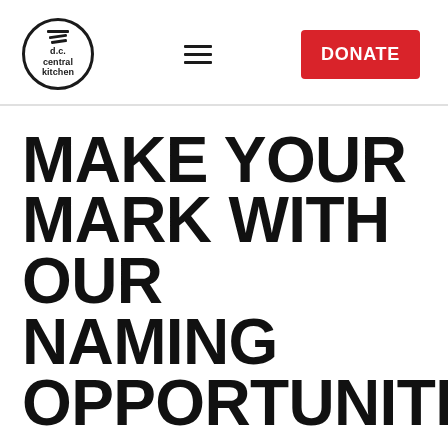[Figure (logo): D.C. Central Kitchen logo — circular black border with fork/tines icon and text 'd.c. central kitchen' inside]
[Figure (other): Hamburger menu icon — three horizontal black lines]
[Figure (other): Red DONATE button]
MAKE YOUR MARK WITH OUR NAMING OPPORTUNITIES
Lightning Fruit